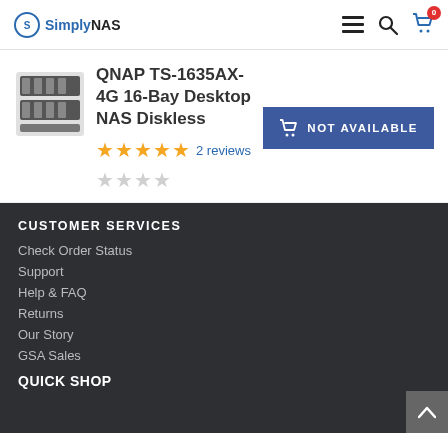SimplyNAS
QNAP TS-1635AX-4G 16-Bay Desktop NAS Diskless
2 reviews (5 stars)
NOT AVAILABLE
CUSTOMER SERVICES
Check Order Status
Support
Help & FAQ
Returns
Our Story
GSA Sales
QUICK SHOP